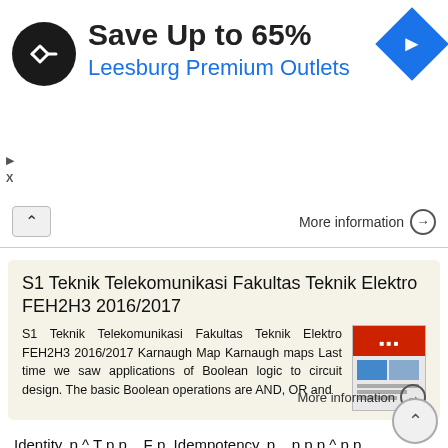[Figure (screenshot): Advertisement banner: Save Up to 65% Leesburg Premium Outlets with logo and navigation icon]
More information →
S1 Teknik Telekomunikasi Fakultas Teknik Elektro FEH2H3 2016/2017
S1 Teknik Telekomunikasi Fakultas Teknik Elektro FEH2H3 2016/2017 Karnaugh Map Karnaugh maps Last time we saw applications of Boolean logic to circuit design. The basic Boolean operations are AND, OR and
More information →
Identity. p ^ T p p _ F p. Idempotency. p _ p p p ^ p p. Associativity. (p _ q) _ r p _ (q _ r) (p ^ q) ^ r p ^ (q ^ r) Absorption